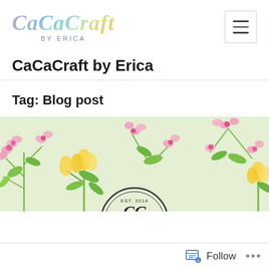[Figure (logo): CaCaCraft by Erica logo with colorful script lettering and 'BY ERICA' subtitle]
CaCaCraft by Erica
Tag: Blog post
[Figure (illustration): Floral banner with pink flowers, yellow tulips, and green leaves on a light green background, with a circular EST. 2014 badge partially visible at bottom center]
Follow